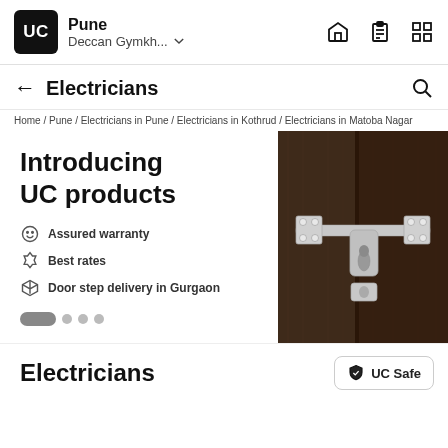UC | Pune / Deccan Gymkh... ∨
Electricians
Home / Pune / Electricians in Pune / Electricians in Kothrud / Electricians in Matoba Nagar
[Figure (screenshot): Promotional banner for UC products showing a door bolt/latch on a dark wood door. Text reads: Introducing UC products. Bullet points: Assured warranty, Best rates, Door step delivery in Gurgaon. Carousel dot indicator at bottom.]
Electricians
UC Safe